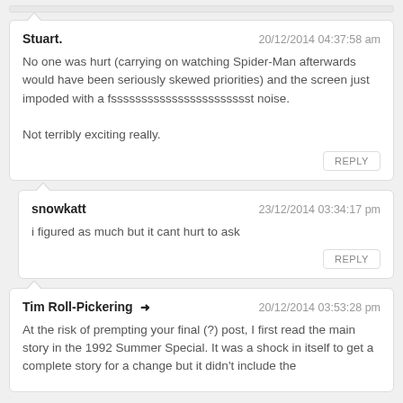Stuart. — 20/12/2014 04:37:58 am
No one was hurt (carrying on watching Spider-Man afterwards would have been seriously skewed priorities) and the screen just impoded with a fssssssssssssssssssssssst noise.

Not terribly exciting really.
REPLY
snowkatt — 23/12/2014 03:34:17 pm
i figured as much but it cant hurt to ask
REPLY
Tim Roll-Pickering → — 20/12/2014 03:53:28 pm
At the risk of prempting your final (?) post, I first read the main story in the 1992 Summer Special. It was a shock in itself to get a complete story for a change but it didn't include the